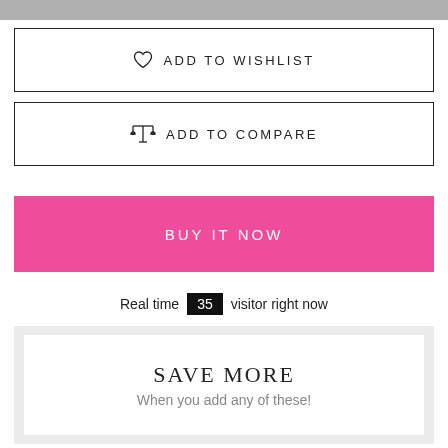[Figure (other): Gray decorative bar at top of page]
♡  ADD TO WISHLIST
⚖  ADD TO COMPARE
BUY IT NOW
Real time 35 visitor right now
SAVE MORE
When you add any of these!